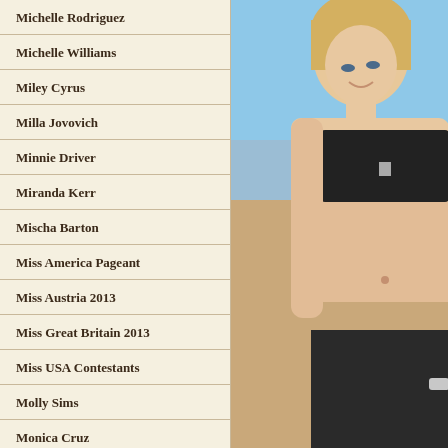Michelle Rodriguez
Michelle Williams
Miley Cyrus
Milla Jovovich
Minnie Driver
Miranda Kerr
Mischa Barton
Miss America Pageant
Miss Austria 2013
Miss Great Britain 2013
Miss USA Contestants
Molly Sims
Monica Cruz
Monika Jagaciak
Monique Weingart
[Figure (photo): A blonde woman in a black bikini top standing at the beach, smiling, with blue sky in the background.]